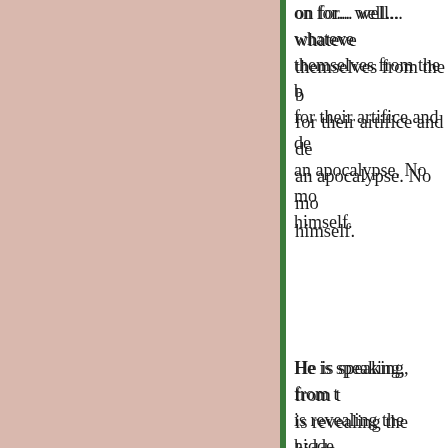on for... well... whatever... themselves from the b... for their artifice and de... an apocalypse. No mo... himself.
He is speaking, from t... is revealing the hidde... the Valkyrie Scream. H... chasing down The Wi... NO-PEACE in the mi...
Out of the crucible of t... righteousness, a new ... faith. Because of the s... the tidal wave of evide... vacc...
Scroll to Top